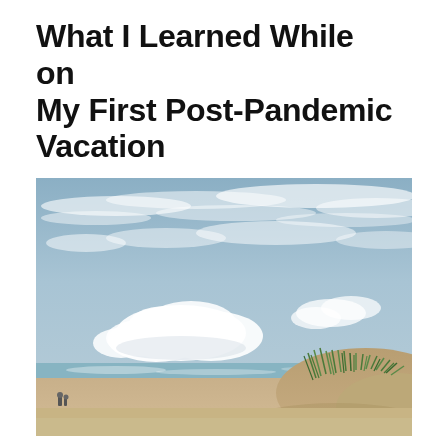What I Learned While on My First Post-Pandemic Vacation
[Figure (photo): Beach scene with sandy dunes, sea grass on the right side, ocean waves in the background, and a dramatic sky with white clouds scattered across a blue-grey sky.]